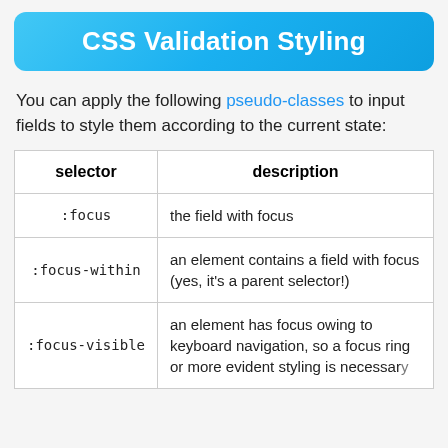CSS Validation Styling
You can apply the following pseudo-classes to input fields to style them according to the current state:
| selector | description |
| --- | --- |
| :focus | the field with focus |
| :focus-within | an element contains a field with focus (yes, it's a parent selector!) |
| :focus-visible | an element has focus owing to keyboard navigation, so a focus ring or more evident styling is necessary |